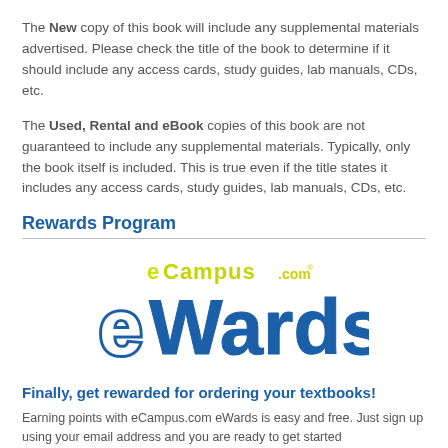The New copy of this book will include any supplemental materials advertised. Please check the title of the book to determine if it should include any access cards, study guides, lab manuals, CDs, etc.
The Used, Rental and eBook copies of this book are not guaranteed to include any supplemental materials. Typically, only the book itself is included. This is true even if the title states it includes any access cards, study guides, lab manuals, CDs, etc.
Rewards Program
[Figure (logo): eCampus.com eWards logo — yellow 'eCampus.com' text above large blue bold 'eWards' text]
Finally, get rewarded for ordering your textbooks!
Earning points with eCampus.com eWards is easy and free. Just sign up using your email address and you are ready to get started